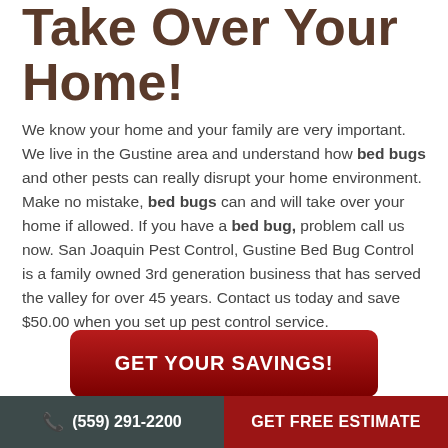Take Over Your Home!
We know your home and your family are very important. We live in the Gustine area and understand how bed bugs and other pests can really disrupt your home environment. Make no mistake, bed bugs can and will take over your home if allowed. If you have a bed bug, problem call us now. San Joaquin Pest Control, Gustine Bed Bug Control is a family owned 3rd generation business that has served the valley for over 45 years. Contact us today and save $50.00 when you set up pest control service.
GET YOUR SAVINGS!
Bed Bug Control Gustine
(559) 291-2200   GET FREE ESTIMATE